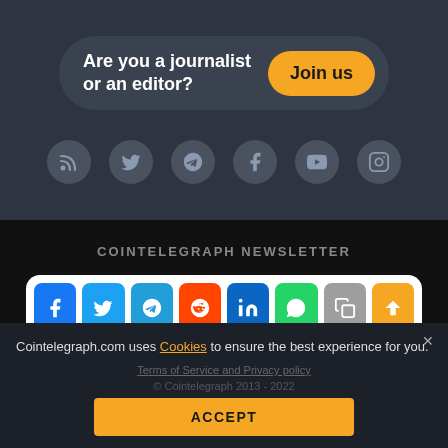Are you a journalist or an editor?
Join us
[Figure (infographic): Row of social media icon circles: RSS, Twitter, Telegram, Facebook, YouTube, Instagram]
COINTELEGRAPH NEWSLETTER
[Figure (infographic): Share bar with colored icon buttons: Facebook, Twitter, Telegram, Reddit, LinkedIn, WhatsApp, Copy, Scroll-up]
Cointelegraph.com uses Cookies to ensure the best experience for you.
Terms of Service and Privacy policy
© Cointelegraph 2013 - 2022
ACCEPT